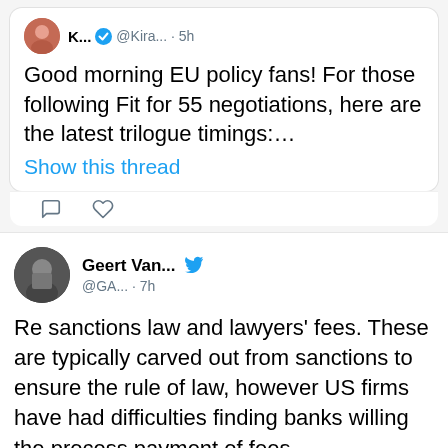[Figure (screenshot): Twitter/social media feed screenshot showing two tweets. First tweet from K... (@Kira...) posted 5h ago, with blue verification check, text: 'Good morning EU policy fans! For those following Fit for 55 negotiations, here are the latest trilogue timings:...' with 'Show this thread' link. Second tweet from Geert Van... (@GA...) posted 7h ago with Twitter bird icon, text: 'Re sanctions law and lawyers' fees. These are typically carved out from sanctions to ensure the rule of law, however US firms have had difficulties finding banks willing the process payment of fees.']